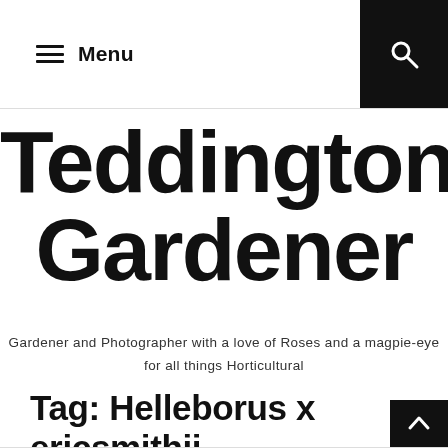Menu
Teddington Gardener
Gardener and Photographer with a love of Roses and a magpie-eye for all things Horticultural
Tag: Helleborus x ericsmithii